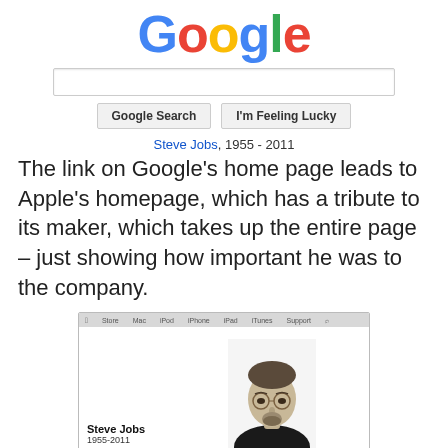[Figure (logo): Google logo in multicolor letters: G(blue), o(red), o(yellow), g(blue), l(green), e(red)]
[Figure (screenshot): Google search bar with two buttons: 'Google Search' and 'I'm Feeling Lucky']
Steve Jobs, 1955 - 2011
The link on Google's home page leads to Apple's homepage, which has a tribute to its maker, which takes up the entire page – just showing how important he was to the company.
[Figure (screenshot): Screenshot of Apple's homepage tribute to Steve Jobs showing his photo and text 'Steve Jobs 1955-2011']